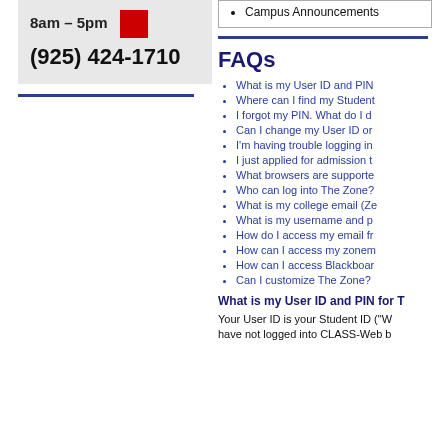8am - 5pm
(925) 424-1710
Campus Announcements
FAQs
What is my User ID and PIN
Where can I find my Student
I forgot my PIN. What do I d
Can I change my User ID or
I'm having trouble logging in
I just applied for admission t
What browsers are supporte
Who can log into The Zone?
What is my college email (Ze
What is my username and p
How do I access my email fr
How can I access my zonem
How can I access Blackboar
Can I customize The Zone?
What is my User ID and PIN for T
Your User ID is your Student ID ("W have not logged into CLASS-Web b